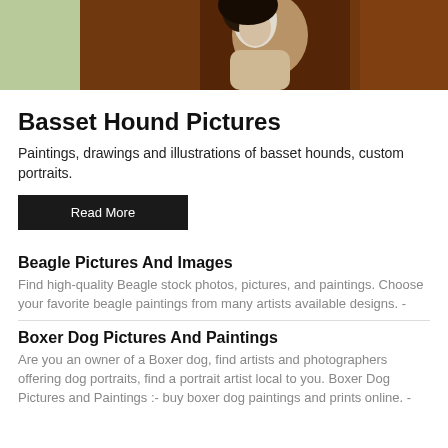[Figure (photo): Photo of basset hound dogs, brown and white coloring, close-up, with light green background on left side]
Basset Hound Pictures
Paintings, drawings and illustrations of basset hounds, custom portraits.
Read More
Beagle Pictures And Images
Find high-quality Beagle stock photos, pictures, and paintings. Choose your favorite beagle paintings from many artists available designs. -
Boxer Dog Pictures And Paintings
Are you an owner of a Boxer dog, find artists and photographers offering dog portraits, find a portrait artist local to you. Boxer Dog Pictures and Paintings :- buy boxer dog paintings and prints online. -